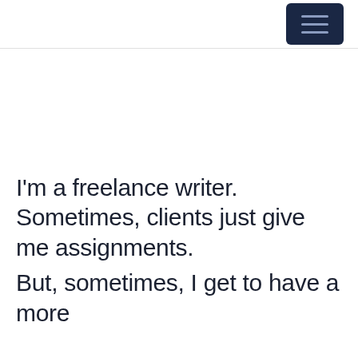[hamburger menu button]
I'm a freelance writer. Sometimes, clients just give me assignments.
But, sometimes, I get to have a more